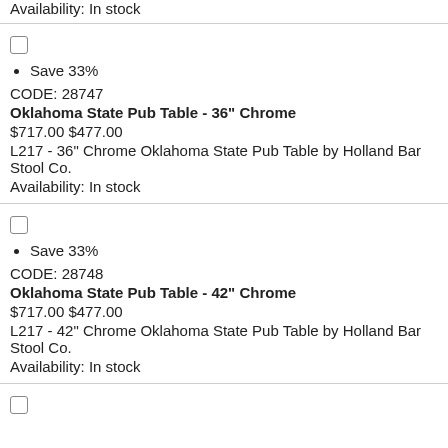Availability: In stock
Save 33%
CODE: 28747
Oklahoma State Pub Table - 36" Chrome
$717.00 $477.00
L217 - 36" Chrome Oklahoma State Pub Table by Holland Bar Stool Co.
Availability: In stock
Save 33%
CODE: 28748
Oklahoma State Pub Table - 42" Chrome
$717.00 $477.00
L217 - 42" Chrome Oklahoma State Pub Table by Holland Bar Stool Co.
Availability: In stock